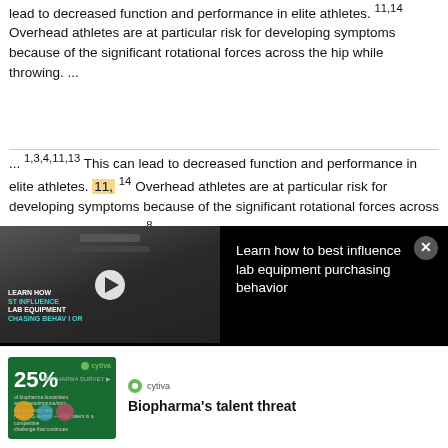lead to decreased function and performance in elite athletes. 11,14 Overhead athletes are at particular risk for developing symptoms because of the significant rotational forces across the hip while throwing. ...
... 1,3,4,11,13 This can lead to decreased function and performance in elite athletes. 11, 14 Overhead athletes are at particular risk for developing symptoms because of the significant rotational forces across the hip while throwing. 8 During the phases of throwing, the lower extremity generates energy that is transferred through the kinetic chain to the upper extremity before ball release. ...
[Figure (screenshot): Video advertisement overlay with thumbnail showing lab equipment and text 'Learn how to best influence lab equipment purchasing behavior' on black background with close button]
[Figure (screenshot): Advertisement banner for Cytiva showing '25%' statistic on dark green background with article title 'Biopharma's talent threat']